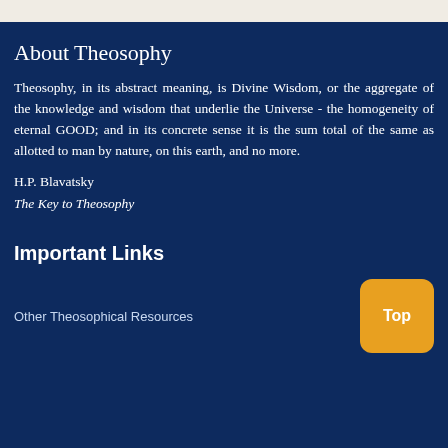About Theosophy
Theosophy, in its abstract meaning, is Divine Wisdom, or the aggregate of the knowledge and wisdom that underlie the Universe - the homogeneity of eternal GOOD; and in its concrete sense it is the sum total of the same as allotted to man by nature, on this earth, and no more.
H.P. Blavatsky
The Key to Theosophy
Important Links
Other Theosophical Resources